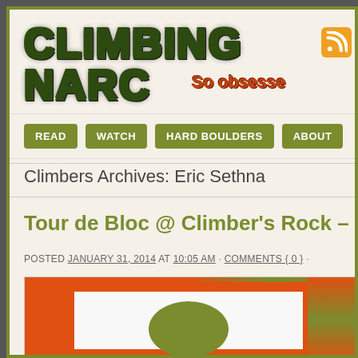CLIMBING NARC  So obsesse
Climbers Archives: Eric Sethna
Tour de Bloc @ Climber's Rock –
POSTED JANUARY 31, 2014 AT 10:05 AM · COMMENTS { 0 } ·
[Figure (photo): Blog post thumbnail image for Tour de Bloc at Climber's Rock, showing orange and green design elements]